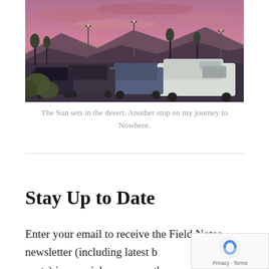[Figure (photo): A parking lot scene at sunset/dusk in the desert. Cars are lined up in the lot with street lights visible. Mountains are silhouetted in the background under a pink and purple sky. Green shrubs are visible on the left.]
The Sun sets in the desert. Another stop on my journey to Nowhere.
Stay Up to Date
Enter your email to receive the Field Notes newsletter (including latest blog posts) in your inbox every other